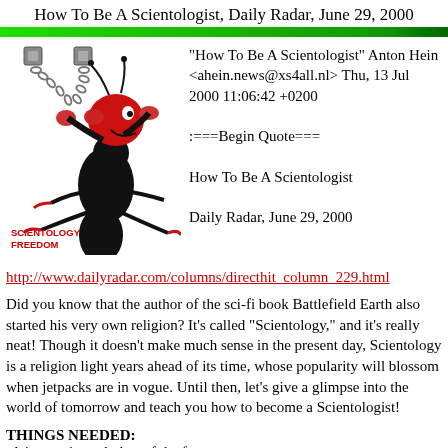How To Be A Scientologist, Daily Radar, June 29, 2000
[Figure (illustration): Cartoon ant/insect character dressed in red with chains, labeled SCIENTOLOGY FREEDOM]
"How To Be A Scientologist" Anton Hein <ahein.news@xs4all.nl> Thu, 13 Jul 2000 11:06:42 +0200

:===Begin Quote===

How To Be A Scientologist

Daily Radar, June 29, 2000
http://www.dailyradar.com/columns/directhit_column_229.html
Did you know that the author of the sci-fi book Battlefield Earth also started his very own religion? It's called "Scientology," and it's really neat! Though it doesn't make much sense in the present day, Scientology is a religion light years ahead of its time, whose popularity will blossom when jetpacks are in vogue. Until then, let's give a glimpse into the world of tomorrow and teach you how to become a Scientologist!
THINGS NEEDED:
-A jumpsuit or clothes of the future